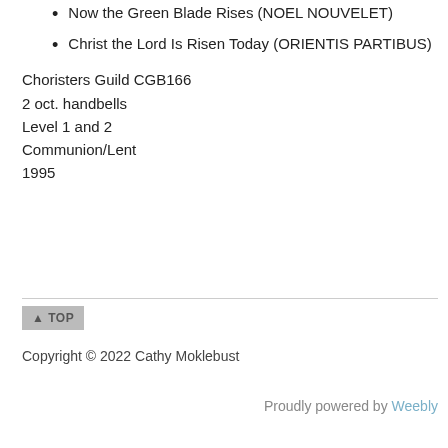Now the Green Blade Rises (NOEL NOUVELET)
Christ the Lord Is Risen Today (ORIENTIS PARTIBUS)
Choristers Guild CGB166
2 oct. handbells
Level 1 and 2
Communion/Lent
1995
▲ TOP
Copyright © 2022 Cathy Moklebust
Proudly powered by Weebly